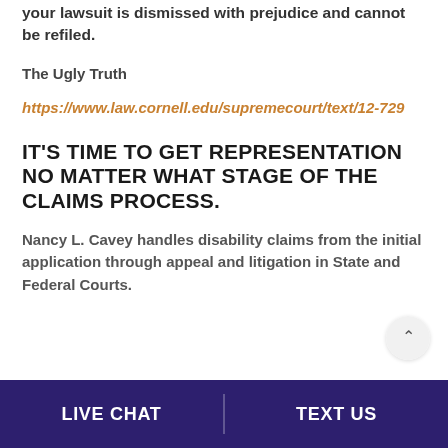denial. This crucial mistake can mean your lawsuit is dismissed with prejudice and cannot be refiled.
The Ugly Truth
https://www.law.cornell.edu/supremecourt/text/12-729
IT'S TIME TO GET REPRESENTATION NO MATTER WHAT STAGE OF THE CLAIMS PROCESS.
Nancy L. Cavey handles disability claims from the initial application through appeal and litigation in State and Federal Courts.
LIVE CHAT    TEXT US